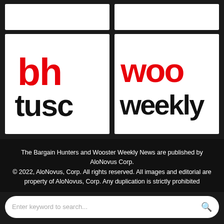[Figure (logo): Empty white box top left (partially visible)]
[Figure (logo): Empty white box top right (partially visible)]
[Figure (logo): BH Tusc logo - red 'bh' letters above black 'tusc' letters on white background]
[Figure (logo): Woo Weekly logo - red 'woo' letters above black 'weekly' letters on white background]
The Bargain Hunters and Wooster Weekly News are published by AloNovus Corp.
© 2022, AloNovus, Corp. All rights reserved. All images and editorial are property of AloNovus, Corp. Any duplication is strictly prohibited
Enter keyword to search...